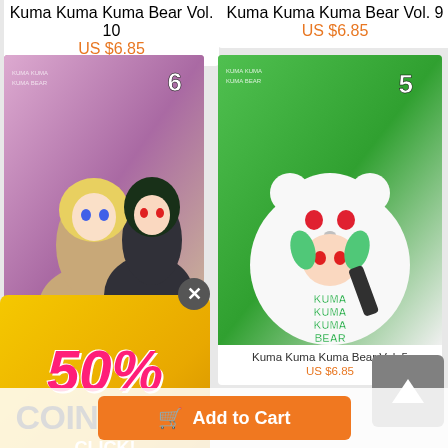Kuma Kuma Kuma Bear Vol. 10
US $6.85
Kuma Kuma Kuma Bear Vol. 9
US $6.85
[Figure (illustration): Manga book cover for Kuma Kuma Kuma Bear Vol. 6, featuring anime characters on pink/purple background]
Kuma Kuma Kuma Bear Vol. 6
US $6.85
[Figure (illustration): Manga book cover for Kuma Kuma Kuma Bear Vol. 5, featuring a white bear character and anime girl on green background]
Kuma Kuma Kuma Bear Vol. 5
US $6.85
[Figure (infographic): 50% COINBACK promotional banner in yellow with pink and black text, overlaid on the page with a CLICK! label]
[Figure (illustration): Manga book cover for Kuma Kuma Kuma Bear Vol. 4, partially visible at bottom left]
Kuma Kuma Kuma Bear Vol. 4
Add to Cart